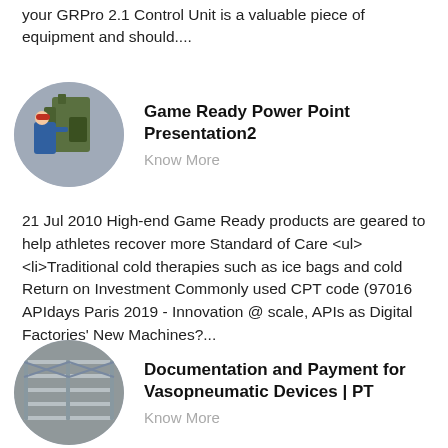your GRPro 2.1 Control Unit is a valuable piece of equipment and should....
[Figure (photo): Oval thumbnail image of a worker in blue jacket and orange helmet operating industrial machinery]
Game Ready Power Point Presentation2
Know More
21 Jul 2010 High-end Game Ready products are geared to help athletes recover more Standard of Care <ul> <li>Traditional cold therapies such as ice bags and cold Return on Investment Commonly used CPT code (97016 APIdays Paris 2019 - Innovation @ scale, APIs as Digital Factories' New Machines?...
[Figure (photo): Oval thumbnail image of industrial metal shelving or structural framework]
Documentation and Payment for Vasopneumatic Devices | PT
Know More